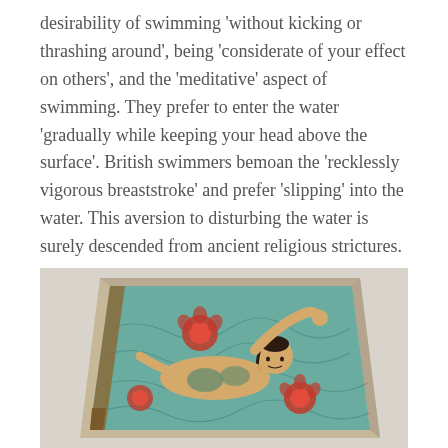desirability of swimming ‘without kicking or thrashing around’, being ‘considerate of your effect on others’, and the ‘meditative’ aspect of swimming. They prefer to enter the water ‘gradually while keeping your head above the surface’. British swimmers bemoan the ‘recklessly vigorous breaststroke’ and prefer ‘slipping’ into the water. This aversion to disturbing the water is surely descended from ancient religious strictures.
[Figure (photo): A decorative tile or painting depicting a figure swimming in stylised water, with lotus flowers, rendered in traditional folk or Mughal-style art. The figure is shown horizontally with arms raised, surrounded by swirling teal/turquoise water patterns and red lotus flowers. The tile has a hexagonal or trapezoidal shape and is photographed against a light wall.]